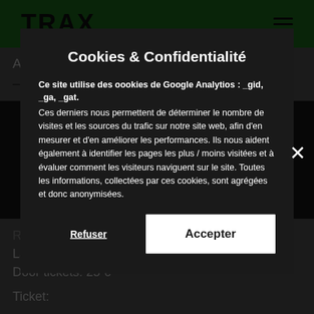TRAX
Acoustics
– Good techno, with a kicking-ass line-up
Cookies & Confidentialité
Ce site utilise des oookies de Google Analytios : _gid, _ga, _gat. Ces derniers nous permettent de déterminer le nombre de visites et les sources du trafic sur notre site web, afin d'en mesurer et d'en améliorer les performances. Ils nous aident également à identifier les pages les plus / moins visitées et à évaluer comment les visiteurs naviguent sur le site. Toutes les informations, collectées par ces cookies, sont agrégées et donc anonymisées.
Refuser
Accepter
Regular tickets: 11 € + fee
Late tickets: 20 € + fee
Door tickets: 25 €
Ticket: